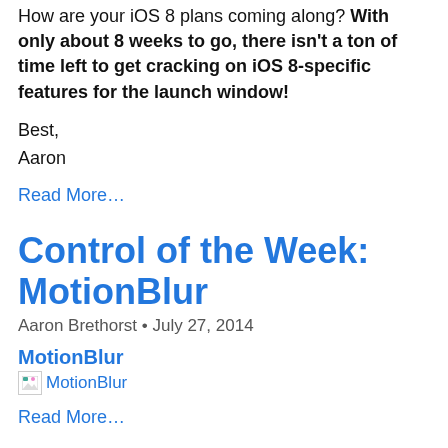How are your iOS 8 plans coming along? With only about 8 weeks to go, there isn't a ton of time left to get cracking on iOS 8-specific features for the launch window!
Best,
Aaron
Read More…
Control of the Week: MotionBlur
Aaron Brethorst • July 27, 2014
MotionBlur
[Figure (other): Broken image placeholder labeled MotionBlur]
Read More…
Weekly Roundup: iBeacon and Passbook